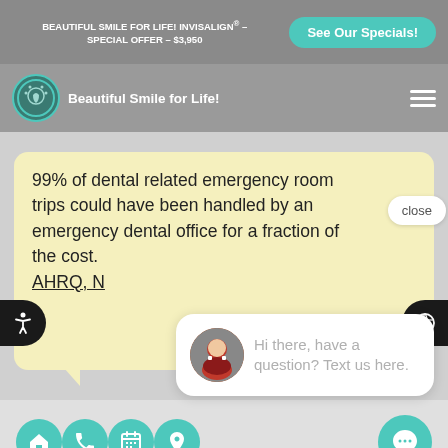BEAUTIFUL SMILE FOR LIFE! INVISALIGN® – SPECIAL OFFER – $3,950
See Our Specials!
[Figure (logo): Beautiful Smile for Life dental clinic logo — circular teal badge with tooth icon]
Beautiful Smile for Life!
99% of dental related emergency room trips could have been handled by an emergency dental office for a fraction of the cost. AHRQ, N
close
[Figure (photo): Smiling woman avatar for chat widget]
Hi there, have a question? Text us here.